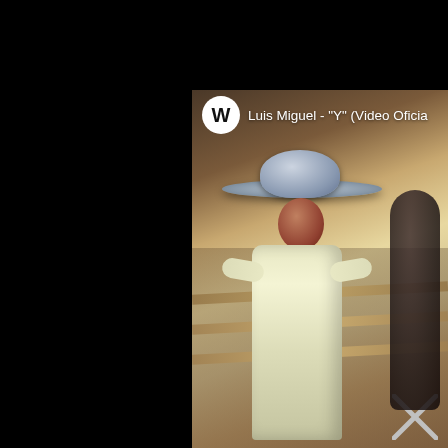[Figure (screenshot): Screenshot of a YouTube video player showing Luis Miguel - 'Y' (Video Oficial). The video shows a person dressed in a light-colored mariachi suit and a wide-brim sombrero hat, performing or posing indoors. The Warner Music logo (circular WM icon) and the video title are overlaid at the top of the video frame. The left portion of the image is black, representing the browser/player background.]